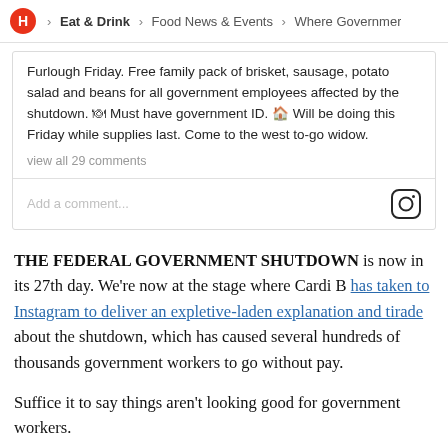H > Eat & Drink > Food News & Events > Where Governmer
Furlough Friday. Free family pack of brisket, sausage, potato salad and beans for all government employees affected by the shutdown. 🍖 Must have government ID. 🏠 Will be doing this Friday while supplies last. Come to the west to-go widow.
view all 29 comments
Add a comment...
THE FEDERAL GOVERNMENT SHUTDOWN is now in its 27th day. We're now at the stage where Cardi B has taken to Instagram to deliver an expletive-laden explanation and tirade about the shutdown, which has caused several hundreds of thousands government workers to go without pay.
Suffice it to say things aren't looking good for government workers.